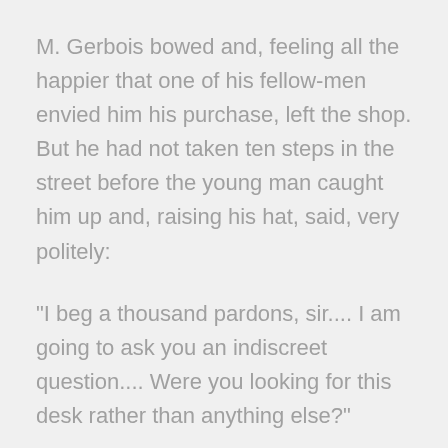M. Gerbois bowed and, feeling all the happier that one of his fellow-men envied him his purchase, left the shop. But he had not taken ten steps in the street before the young man caught him up and, raising his hat, said, very politely:
"I beg a thousand pardons, sir.... I am going to ask you an indiscreet question.... Were you looking for this desk rather than anything else?"
"No, I went to the shop to see if I could find a